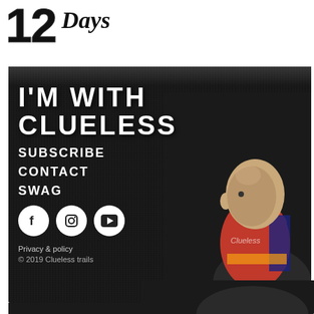12 Days
[Figure (illustration): Dark textured background panel with a bold white text header 'I'M WITH CLUELESS', navigation links (SUBSCRIBE, CONTACT, SWAG), social media icons (Facebook, Instagram, YouTube), Privacy & policy link, copyright notice '© 2019 Clueless trails', and a photo of a bald man wearing a colorful neck gaiter/buff on the right side.]
I'M WITH CLUELESS
SUBSCRIBE
CONTACT
SWAG
Privacy & policy
© 2019 Clueless trails